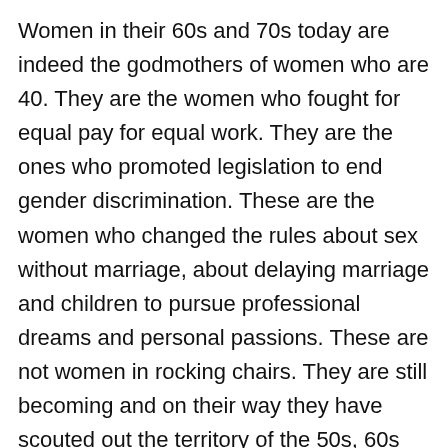Women in their 60s and 70s today are indeed the godmothers of women who are 40. They are the women who fought for equal pay for equal work. They are the ones who promoted legislation to end gender discrimination. These are the women who changed the rules about sex without marriage, about delaying marriage and children to pursue professional dreams and personal passions. These are not women in rocking chairs. They are still becoming and on their way they have scouted out the territory of the 50s, 60s and beyond.
It doesn’t matter if we “use different moisturizers,” Mary Elizabeth. What matters is that at 40 women will get all that they need to become their personal best if they embrace the best place to find it. And that’s with the